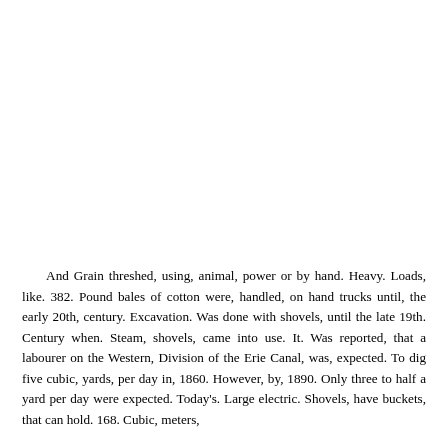And Grain threshed, using, animal, power or by hand. Heavy. Loads, like. 382. Pound bales of cotton were, handled, on hand trucks until, the early 20th, century. Excavation. Was done with shovels, until the late 19th. Century when. Steam, shovels, came into use. It. Was reported, that a labourer on the Western, Division of the Erie Canal, was, expected. To dig five cubic, yards, per day in, 1860. However, by, 1890. Only three to half a yard per day were expected. Today's. Large electric. Shovels, have buckets, that can hold. 168. Cubic, meters,